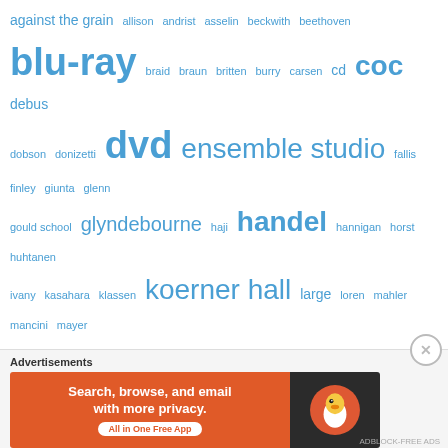[Figure (infographic): Tag cloud / word cloud with music and opera related terms in varying font sizes, all in blue. Larger words include: blu-ray, dvd, ensemble studio, handel, koerner hall, mozart, rba, soundstreams, strauss, tapestry. Smaller words include: against the grain, allison, andrist, asselin, beckwith, beethoven, braid, braun, britten, burry, carsen, cd, coc, debus, dobson, donizetti, fallis, finley, giunta, glenn, gould school, glyndebourne, haji, hannigan, horst, huhtanen, ivany, kasahara, klassen, large, loren, mahler, mancini, mayer, mchardy, methd, metropolitan opera, newman, opera 5, opera atelier, osborne, philcox, pieczonka, puccini, purcell, roh, rossini, roussillon, roy thomson hall, salzburg, schubert, sirett, szabo, tafelmusik, tapestry opera, tennekoon, toronto operetta theatre, toronto summer.]
Advertisements
[Figure (screenshot): Advertisement banner for DuckDuckGo app. Left side is orange with text 'Search, browse, and email with more privacy. All in One Free App'. Right side is dark with DuckDuckGo duck logo.]